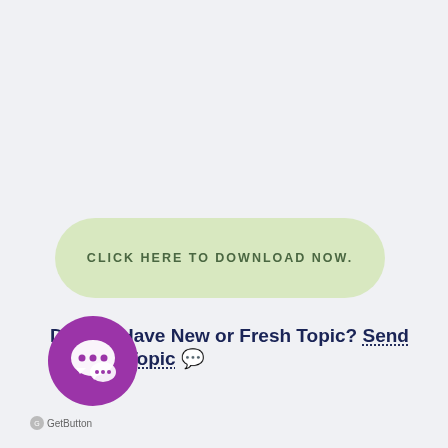CLICK HERE TO DOWNLOAD NOW.
Do You Have New or Fresh Topic? Send Us Your Topic
[Figure (illustration): Purple circular chat button icon with speech bubble symbol, GetButton widget]
GetButton